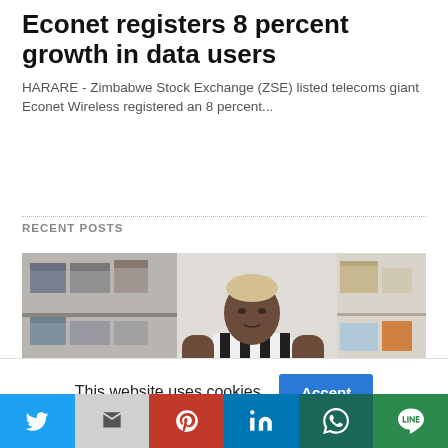Econet registers 8 percent growth in data users
HARARE - Zimbabwe Stock Exchange (ZSE) listed telecoms giant Econet Wireless registered an 8 percent...
RECENT POSTS
[Figure (photo): A man in a black and white Juventus striped jersey standing in front of shelves with boxes and sneakers in a storage room]
This website uses cookies.
[Figure (infographic): Social sharing bar with Twitter, Gmail, Pinterest, LinkedIn, WhatsApp, and LINE buttons]